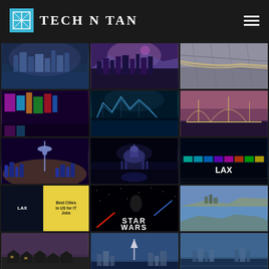[Figure (logo): Tech N Tan logo with teal square containing stylized TN monogram, followed by white serif text 'TECH N TAN' on dark background, hamburger menu icon on right]
[Figure (photo): Grid of city photographs: Seattle waterfront, Los Angeles skyline, aerial city view, colorful city streets, theme park roller coaster, bridge at sunset, Space Needle Seattle, US Capitol building, LAX airport signage, LAX small thumbnail, Best Cities in US for IT Jobs text card, Star Wars movie poster, San Francisco bay aerial, and additional city photos in bottom row]